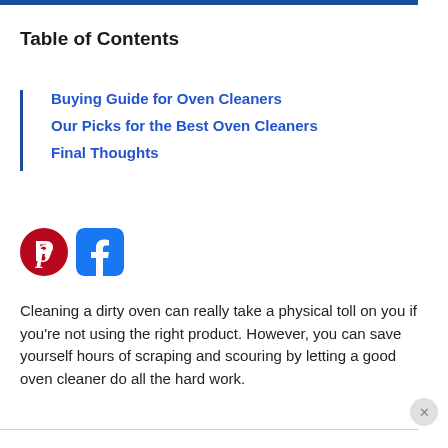Table of Contents
Buying Guide for Oven Cleaners
Our Picks for the Best Oven Cleaners
Final Thoughts
[Figure (illustration): Pinterest and Facebook social media icons side by side]
Cleaning a dirty oven can really take a physical toll on you if you’re not using the right product. However, you can save yourself hours of scraping and scouring by letting a good oven cleaner do all the hard work.